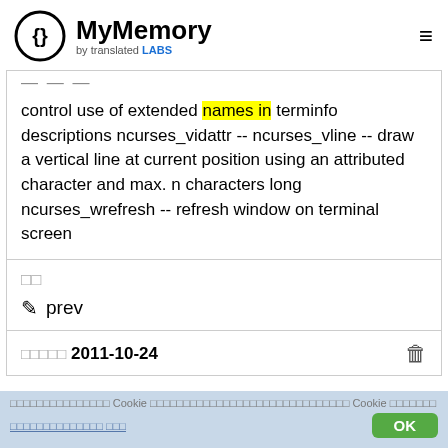MyMemory by translated LABS
control use of extended names in terminfo descriptions ncurses_vidattr -- ncurses_vline -- draw a vertical line at current position using an attributed character and max. n characters long ncurses_wrefresh -- refresh window on terminal screen
prev
2011-10-24
Cookie [cookie consent bar text] Cookie [text] OK